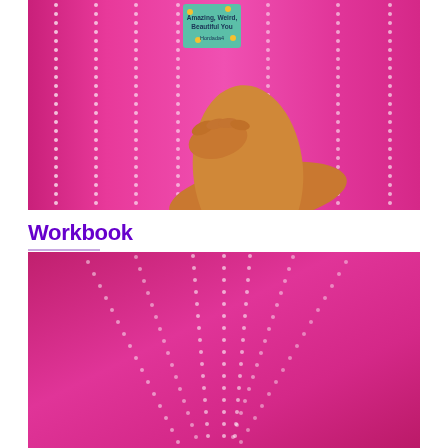[Figure (photo): A hand/arm holding up a small teal book titled 'Amazing, Weird, Beautiful You' against a bright pink background with vertical dotted white lines]
Workbook
[Figure (photo): Close-up of a bright pink fabric or surface with fan-shaped radiating dotted/beaded lines, creating a decorative starburst pattern]